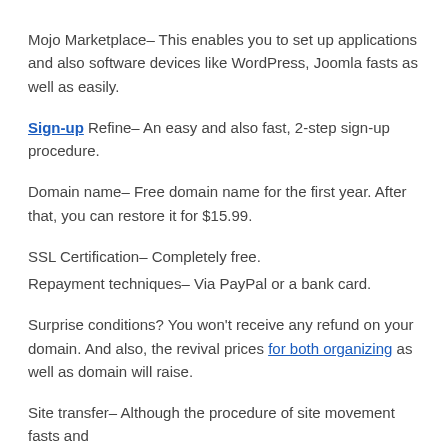Mojo Marketplace– This enables you to set up applications and also software devices like WordPress, Joomla fasts as well as easily.
Sign-up Refine– An easy and also fast, 2-step sign-up procedure.
Domain name– Free domain name for the first year. After that, you can restore it for $15.99.
SSL Certification– Completely free.
Repayment techniques– Via PayPal or a bank card.
Surprise conditions? You won't receive any refund on your domain. And also, the revival prices for both organizing as well as domain will raise.
Site transfer– Although the procedure of site movement fasts and